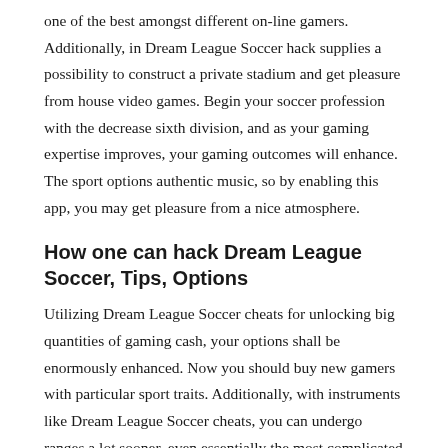one of the best amongst different on-line gamers. Additionally, in Dream League Soccer hack supplies a possibility to construct a private stadium and get pleasure from house video games. Begin your soccer profession with the decrease sixth division, and as your gaming expertise improves, your gaming outcomes will enhance. The sport options authentic music, so by enabling this app, you may get pleasure from a nice atmosphere.
How one can hack Dream League Soccer, Tips, Options
Utilizing Dream League Soccer cheats for unlocking big quantities of gaming cash, your options shall be enormously enhanced. Now you should buy new gamers with particular sport traits. Additionally, with instruments like Dream League Soccer cheats, you can undergo ranges a lot sooner, even essentially the most complicated ones. As a result of now you should have entry to all of the abilities you want, as well as